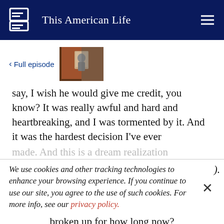This American Life
< Full episode
[Figure (photo): Thumbnail image of a This American Life episode, showing a person at a doorway with reddish-brown and grey tones]
say, I wish he would give me credit, you know? It was really awful and hard and heartbreaking, and I was tormented by it. And it was the hardest decision I've ever made. And this is a dream realization
We use cookies and other tracking technologies to enhance your browsing experience. If you continue to use our site, you agree to the use of such cookies. For more info, see our privacy policy.
broken up for how long now?